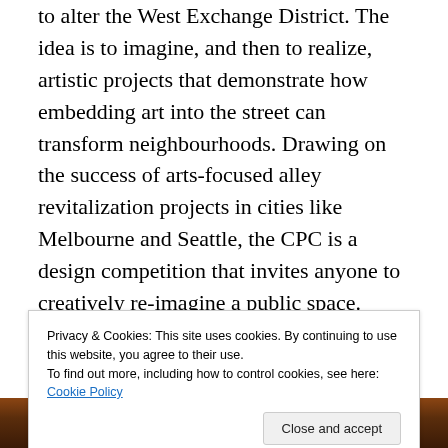to alter the West Exchange District. The idea is to imagine, and then to realize, artistic projects that demonstrate how embedding art into the street can transform neighbourhoods. Drawing on the success of arts-focused alley revitalization projects in cities like Melbourne and Seattle, the CPC is a design competition that invites anyone to creatively re-imagine a public space.  Through an open call / juried process, participants will be given a limited budget and a window of time to prototype designs and install them in the Exchange District during 2014.
Comp...
Privacy & Cookies: This site uses cookies. By continuing to use this website, you agree to their use.
To find out more, including how to control cookies, see here: Cookie Policy
Close and accept
[Figure (photo): Bottom portion of a photograph showing a dark, warmly lit scene with orange and red tones, partially obscured text overlay reading something like 'Souldera Mall Camp']